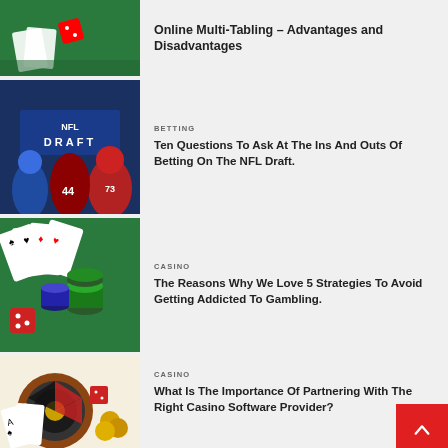[Figure (photo): Casino dice and green table — top article image (partially visible)]
Online Multi-Tabling – Advantages and Disadvantages
[Figure (photo): NFL Draft event with football players in team uniforms]
BETTING
Ten Questions To Ask At The Ins And Outs Of Betting On The NFL Draft.
[Figure (photo): Casino poker chips, playing cards, and red dice on green table]
CASINO
The Reasons Why We Love 5 Strategies To Avoid Getting Addicted To Gambling.
[Figure (photo): Roulette wheel, playing cards, dice and gold coins on white background]
CASINO
What Is The Importance Of Partnering With The Right Casino Software Provider?